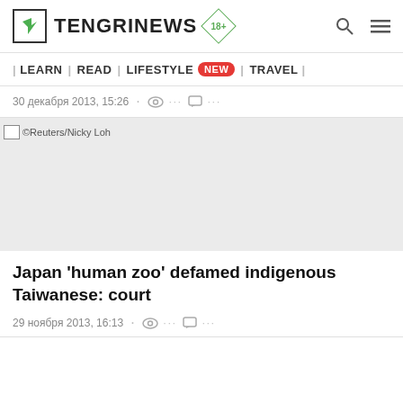TENGRINEWS 18+
| LEARN | READ | LIFESTYLE NEW | TRAVEL |
30 декабря 2013, 15:26
[Figure (photo): Broken image placeholder with caption ©Reuters/Nicky Loh, grey background]
©Reuters/Nicky Loh
Japan 'human zoo' defamed indigenous Taiwanese: court
29 ноября 2013, 16:13